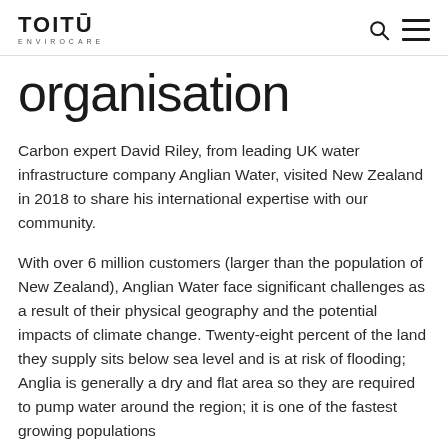TOITŪ ENVIROCARE
organisation
Carbon expert David Riley, from leading UK water infrastructure company Anglian Water, visited New Zealand in 2018 to share his international expertise with our community.
With over 6 million customers (larger than the population of New Zealand), Anglian Water face significant challenges as a result of their physical geography and the potential impacts of climate change. Twenty-eight percent of the land they supply sits below sea level and is at risk of flooding; Anglia is generally a dry and flat area so they are required to pump water around the region; it is one of the fastest growing populations